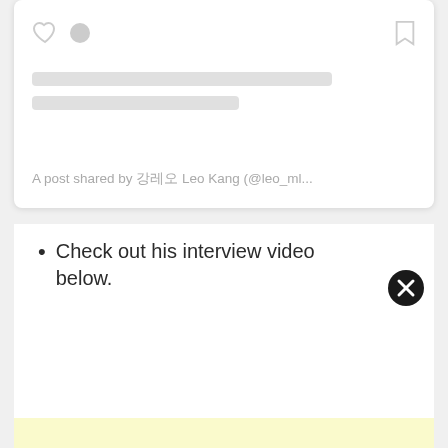[Figure (screenshot): Embedded social media post card showing heart and circle icons on the left, bookmark icon on the right, two grey skeleton placeholder lines, and caption text reading: A post shared by 강레오 Leo Kang (@leo_ml...]
Check out his interview video below.
[Figure (other): Black circular close/dismiss button with white X symbol, positioned to the right of the list item.]
[Figure (other): Light yellow horizontal bar at the bottom of the page.]